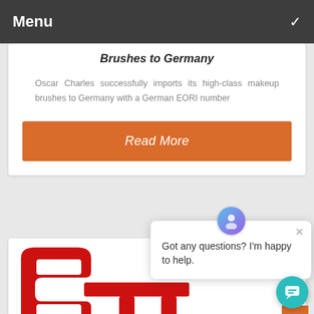Menu
Brushes to Germany
Oscar Charles successfully imports its high-class makeup brushes to Germany with a German EORI number
Read More
[Figure (logo): Red stylized logo resembling letters on white background]
Got any questions? I'm happy to help.